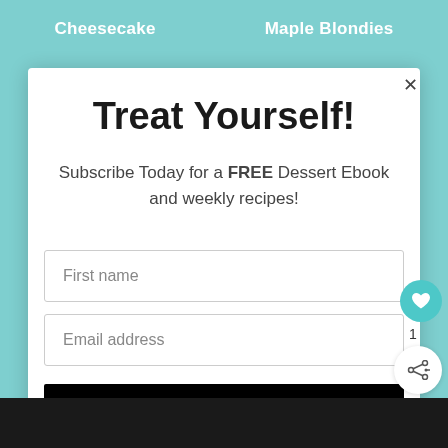Cheesecake   Maple Blondies
Treat Yourself!
Subscribe Today for a FREE Dessert Ebook and weekly recipes!
First name
Email address
Subscribe